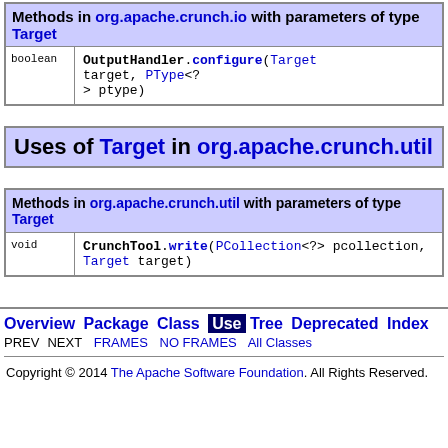| Methods in org.apache.crunch.io with parameters of type Target |
| --- |
| boolean | OutputHandler.configure(Target target, PType<?> ptype) |
Uses of Target in org.apache.crunch.util
| Methods in org.apache.crunch.util with parameters of type Target |
| --- |
| void | CrunchTool.write(PCollection<?> pcollection, Target target) |
Overview Package Class Use Tree Deprecated Index | PREV NEXT | FRAMES NO FRAMES All Classes
Copyright © 2014 The Apache Software Foundation. All Rights Reserved.